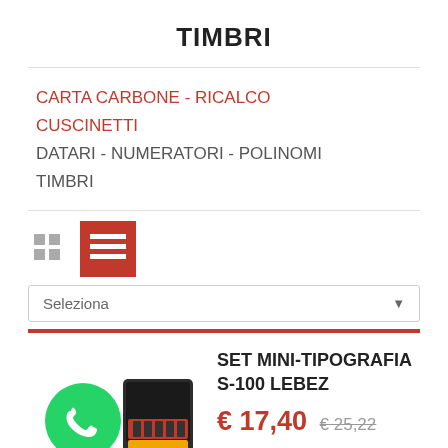TIMBRI
CARTA CARBONE - RICALCO
CUSCINETTI
DATARI - NUMERATORI - POLINOMI
TIMBRI
[Figure (screenshot): View toggle icons: grid view (gray) and list view (red active)]
Seleziona
SET MINI-TIPOGRAFIA S-100 LEBEZ
€ 17,40  € 25,22